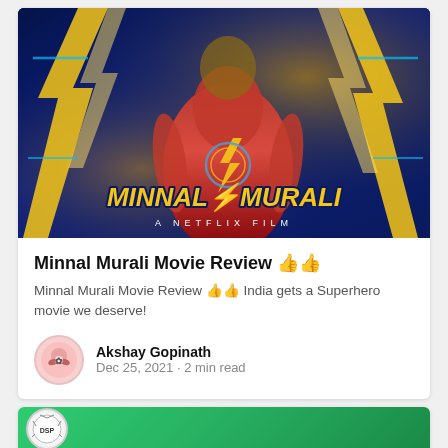[Figure (photo): Minnal Murali movie poster — Netflix film. Dark blue background with yellow neon lettering 'MINNAL MURALI' and subtitle 'A NETFLIX FILM'. Hero in red superhero costume visible from behind.]
Minnal Murali Movie Review 👍👍
Minnal Murali Movie Review 👍👍 India gets a Superhero movie we deserve!
Akshay Gopinath
Dec 25, 2021 · 2 min read
[Figure (photo): Partial bottom card showing a green-toned image with a DSP circular badge/logo on the left side.]